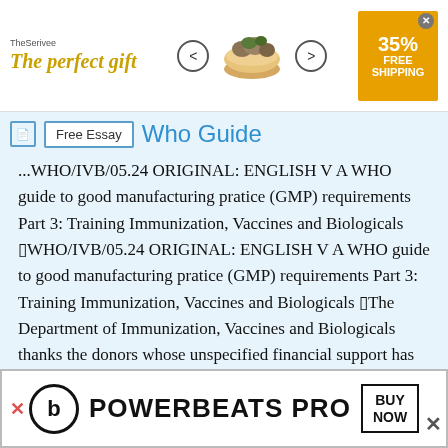[Figure (other): Top advertisement banner: 'The perfect gift' in golden italic text with a decorative bowl of food image, navigation arrows, and a gold '35% FREE SHIPPING' badge with close button]
Free Essay  Who Guide
...WHO/IVB/05.24 ORIGINAL: ENGLISH V A WHO guide to good manufacturing pratice (GMP) requirements Part 3: Training Immunization, Vaccines and Biologicals �WHO/IVB/05.24 ORIGINAL: ENGLISH V A WHO guide to good manufacturing pratice (GMP) requirements Part 3: Training Immunization, Vaccines and Biologicals �The Department of Immunization, Vaccines and Biologicals thanks the donors whose unspecified financial support has made the production of this document possible. This document was produced by the Access to Technologies Team of the Department of Immunization, Vaccines and Biologicals Ordering
[Figure (other): Bottom advertisement: Beats Powerbeats Pro logo with 'BUY NOW' button]